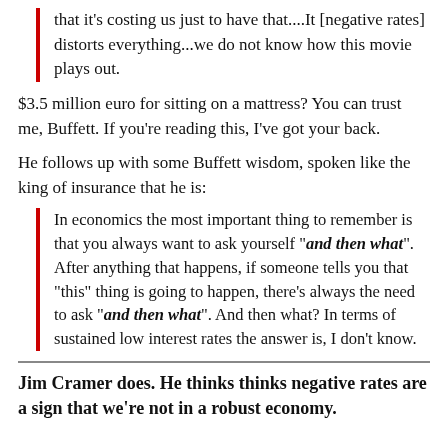that it's costing us just to have that....It [negative rates] distorts everything...we do not know how this movie plays out.
$3.5 million euro for sitting on a mattress? You can trust me, Buffett. If you're reading this, I've got your back.
He follows up with some Buffett wisdom, spoken like the king of insurance that he is:
In economics the most important thing to remember is that you always want to ask yourself "and then what". After anything that happens, if someone tells you that "this" thing is going to happen, there's always the need to ask "and then what". And then what? In terms of sustained low interest rates the answer is, I don't know.
Jim Cramer does. He thinks thinks negative rates are a sign that we're not in a robust economy.